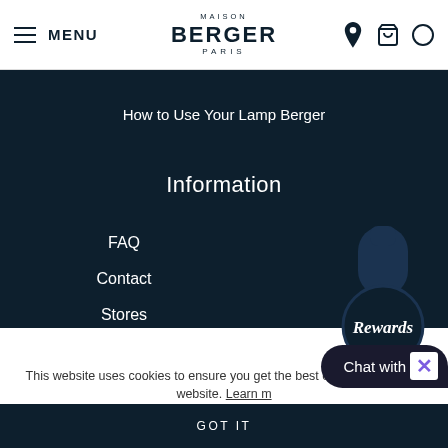MENU | MAISON BERGER PARIS
How to Use Your Lamp Berger
Information
FAQ
Contact
Stores
[Figure (logo): Rewards badge with bottle silhouette and circular emblem with Rewards script text]
[Figure (infographic): Social media icons: Facebook, YouTube, Instagram]
This website uses cookies to ensure you get the best experience on our website. Learn m...
GOT IT
Chat with us